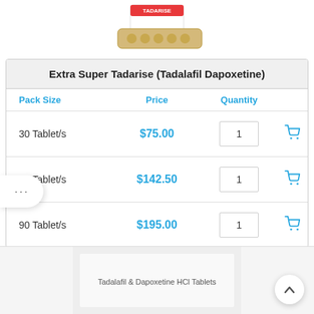[Figure (photo): Product image of Extra Super Tadarise pill blister pack and box, partially visible at top of page]
| Pack Size | Price | Quantity |  |
| --- | --- | --- | --- |
| 30 Tablet/s | $75.00 | 1 | cart |
| 60 Tablet/s | $142.50 | 1 | cart |
| 90 Tablet/s | $195.00 | 1 | cart |
[Figure (photo): Bottom partial image showing a white tablet blister pack labeled 'Tadalafil & Dapoxetine HCl Tablets']